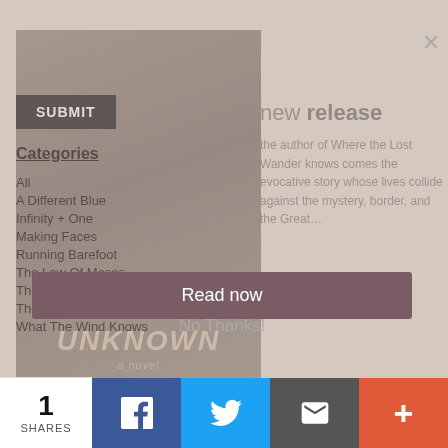[Figure (screenshot): Website screenshot showing a book category sidebar with a SUBMIT button, book cover for 'The Unknown' by Amy Harmon, and a modal popup with 'Read now' and 'No Thanks!' buttons. A social share bar is at the bottom with share count of 1.]
Categories
All
A Different Blue
Infinity + One
Making Faces
Running Barefoot
The Law Of Moses
The Smallest Part
The Song Of David
What The Wind Knows
new release
the author of Where the Lost Wander knows comes the evocative story whose lives collide against the mystery, border, and the Great...
Read now
No Thanks!
1 SHARES